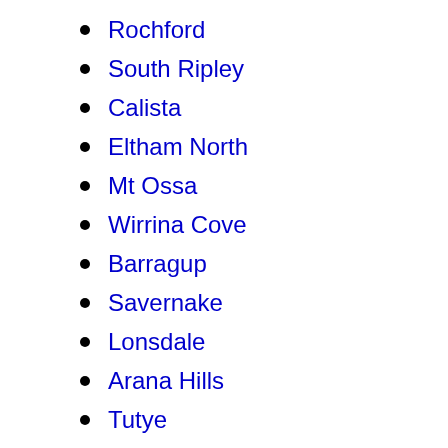Rochford
South Ripley
Calista
Eltham North
Mt Ossa
Wirrina Cove
Barragup
Savernake
Lonsdale
Arana Hills
Tutye